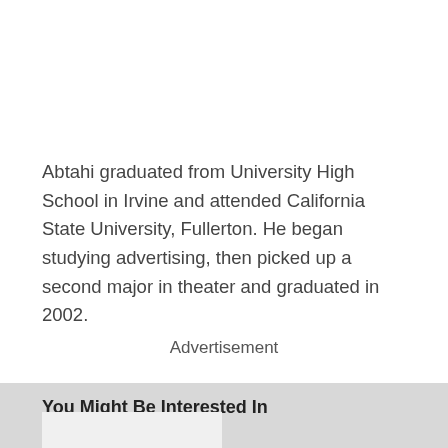Abtahi graduated from University High School in Irvine and attended California State University, Fullerton. He began studying advertising, then picked up a second major in theater and graduated in 2002.
Advertisement
You Might Be Interested In